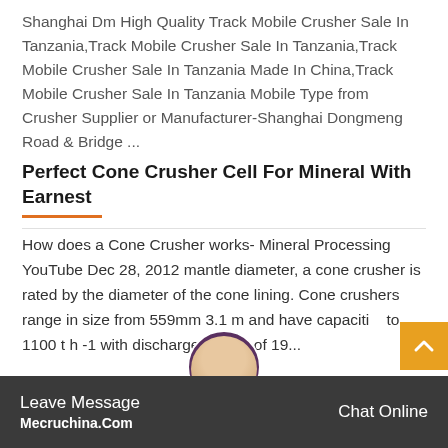Shanghai Dm High Quality Track Mobile Crusher Sale In Tanzania,Track Mobile Crusher Sale In Tanzania,Track Mobile Crusher Sale In Tanzania Made In China,Track Mobile Crusher Sale In Tanzania Mobile Type from Crusher Supplier or Manufacturer-Shanghai Dongmeng Road & Bridge ...
Perfect Cone Crusher Cell For Mineral With Earnest
How does a Cone Crusher works- Mineral Processing YouTube Dec 28, 2012 mantle diameter, a cone crusher is rated by the diameter of the cone lining. Cone crushers range in size from 559mm 3.1 m and have capaciti to 1100 t h -1 with discharge setting of 19...
Leave Message Mecruchina.Com     Chat Online